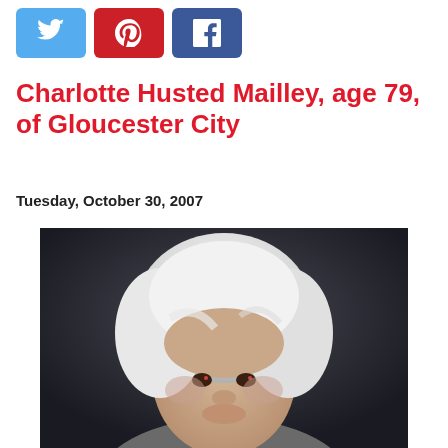[Figure (other): Social media share buttons: Twitter (blue), Pinterest (red), Facebook (blue)]
Charlotte Husted Mailley, age 79, of Gloucester City
Tuesday, October 30, 2007
[Figure (photo): Black and white portrait photo of an elderly woman with white curly hair]